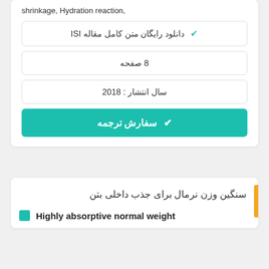shrinkage, Hydration reaction,
✔ دانلود رایگان متن کامل مقاله ISI
8 صفحه
سال انتشار : 2018
✔ سفارش ترجمه
سنگین وزن نرمال برای جذب داخلی بتن
Highly absorptive normal weight